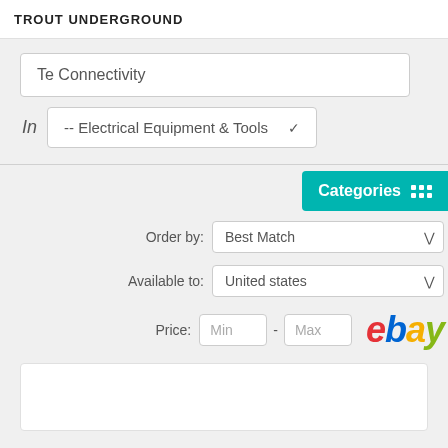TROUT UNDERGROUND
Te Connectivity
In  -- Electrical Equipment & Tools
Categories
Order by: Best Match
Available to: United states
Price: Min - Max
[Figure (logo): eBay logo in red italic text]